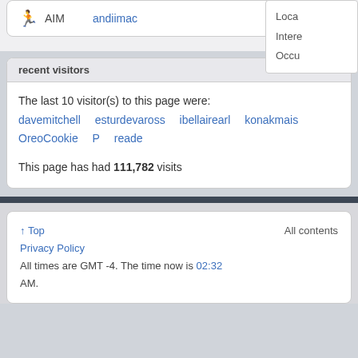AIM   andiimac
Loca
Intere
Occu
recent visitors
The last 10 visitor(s) to this page were:
davemitchell   esturdevaross   ibellairearl   konakmais   OreoCookie   P   reade
This page has had 111,782 visits
↑ Top   Privacy Policy   All times are GMT -4. The time now is 02:32 AM.   All contents